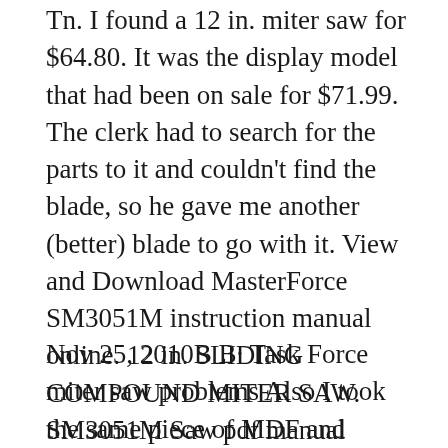Tn. I found a 12 in. miter saw for $64.80. It was the display model that had been on sale for $71.99. The clerk had to search for the parts to it and couldn't find the blade, so he gave me another (better) blade to go with it. View and Download MasterForce SM3051M instruction manual online. 12 in. SLIDING COMPOUND MITER SAW. SM3051M Saw pdf manual download. Don't force a tool or workpiece shift after it is cut. attachment todoajob itwas not designed B® Keep the cut off piece free to move sideways todo.
Nov 25, 2010B B· Task Force miter saw problems Also I took the same piece of MDF and placed it on the saw platform roughly within 1/16 inch of